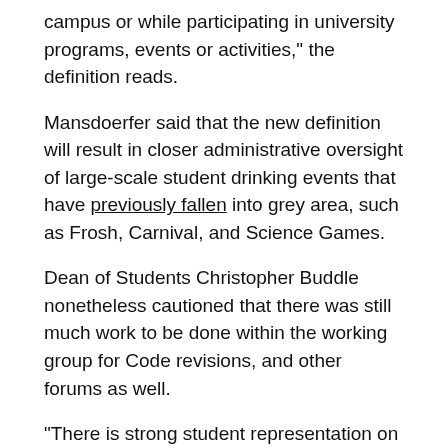campus or while participating in university programs, events or activities," the definition reads.
Mansdoerfer said that the new definition will result in closer administrative oversight of large-scale student drinking events that have previously fallen into grey area, such as Frosh, Carnival, and Science Games.
Dean of Students Christopher Buddle nonetheless cautioned that there was still much work to be done within the working group for Code revisions, and other forums as well.
"There is strong student representation on the workgroup," Buddle wrote in an email to The McGill Tribune. "There is also an advisory panel being formed, which will likely [meet] in early February